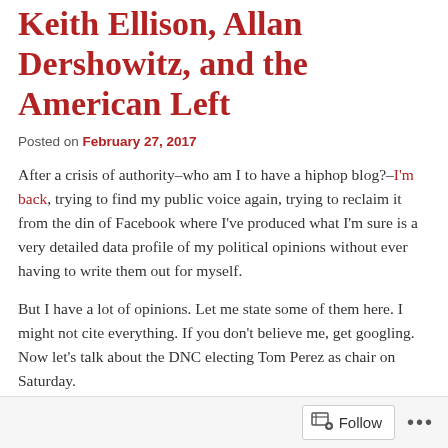Keith Ellison, Allan Dershowitz, and the American Left
Posted on February 27, 2017
After a crisis of authority–who am I to have a hiphop blog?–I'm back, trying to find my public voice again, trying to reclaim it from the din of Facebook where I've produced what I'm sure is a very detailed data profile of my political opinions without ever having to write them out for myself.
But I have a lot of opinions. Let me state some of them here. I might not cite everything. If you don't believe me, get googling. Now let's talk about the DNC electing Tom Perez as chair on Saturday.
Follow